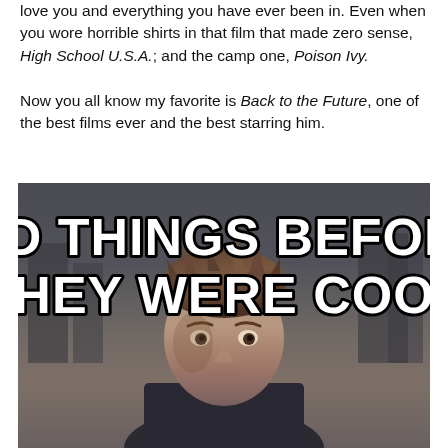love you and everything you have ever been in. Even when you wore horrible shirts in that film that made zero sense, High School U.S.A.; and the camp one, Poison Ivy.

Now you all know my favorite is Back to the Future, one of the best films ever and the best starring him.
[Figure (photo): Meme image featuring a young man (Michael J. Fox as Marty McFly from Back to the Future) with bold white Impact-style text reading 'DID THINGS BEFORE THEY WERE COOL' with black outline, overlaid on a blurred urban background.]